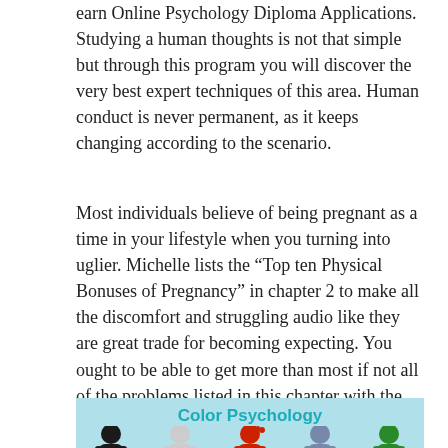earn Online Psychology Diploma Applications. Studying a human thoughts is not that simple but through this program you will discover the very best expert techniques of this area. Human conduct is never permanent, as it keeps changing according to the scenario.
Most individuals believe of being pregnant as a time in your lifestyle when you turning into uglier. Michelle lists the “Top ten Physical Bonuses of Pregnancy” in chapter 2 to make all the discomfort and struggling audio like they are great trade for becoming expecting. You ought to be able to get more than most if not all of the problems listed in this chapter with the suggestions supplied.
[Figure (infographic): Color Psychology infographic showing five colored human figures (black, white, red, blue/grey, green) against a light blue background, with title 'Color Psychology' in teal.]